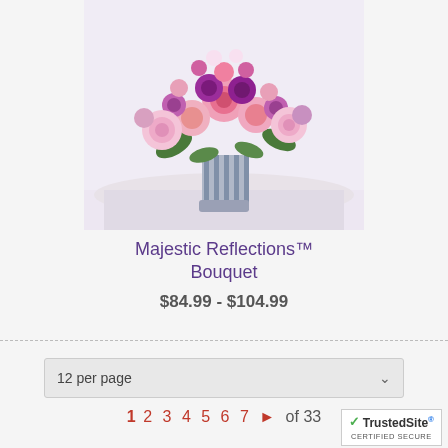[Figure (photo): Flower bouquet with pink roses, purple blooms, and carnations in a silver vase on a white table]
Majestic Reflections™ Bouquet
$84.99 - $104.99
12 per page
1 2 3 4 5 6 7 ▶ of 33
[Figure (logo): TrustedSite CERTIFIED SECURE badge]